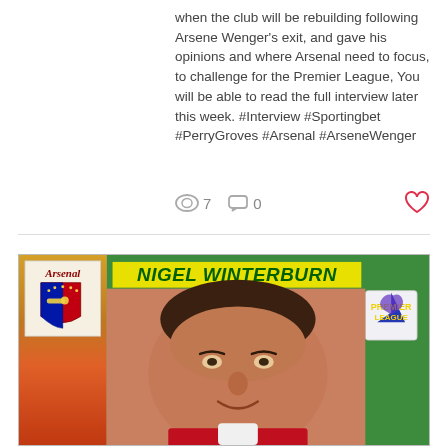when the club will be rebuilding following Arsene Wenger's exit, and gave his opinions and where Arsenal need to focus, to challenge for the Premier League, You will be able to read the full interview later this week. #Interview #Sportingbet #PerryGroves #Arsenal #ArseneWenger
7   0
[Figure (photo): Football sticker card of Nigel Winterburn from Arsenal. Green background with player photo, Arsenal club badge on left strip with orange/gold gradient, player name 'NIGEL WINTERBURN' in yellow italic bold text on green banner, Premier League lion logo top right.]